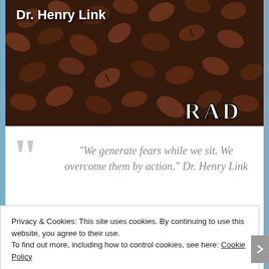[Figure (photo): Coffee beans background image with 'Dr. Henry Link' text at top and 'RAD' logo at bottom right]
“We generate fears while we sit. We overcome them by action.” Dr. Henry Link
If you want to get your story, poem or quote featured on my blog, please contact me at — radthepoet@gmail.com
Privacy & Cookies: This site uses cookies. By continuing to use this website, you agree to their use.
To find out more, including how to control cookies, see here: Cookie Policy
Close and accept